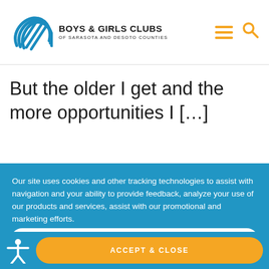[Figure (logo): Boys & Girls Clubs of Sarasota and DeSoto Counties logo with blue geometric hand design and organization name]
But the older I get and the more opportunities I [...]
Our site uses cookies and other tracking technologies to assist with navigation and your ability to provide feedback, analyze your use of our products and services, assist with our promotional and marketing efforts.
PRIVACY POLICY
ACCEPT & CLOSE